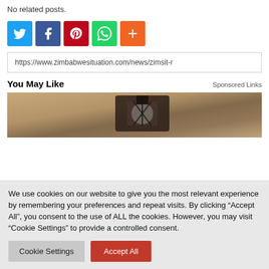No related posts.
[Figure (infographic): Social sharing icons: Twitter (blue), Facebook (dark blue), Pinterest (red), WhatsApp (green), More/Plus (orange)]
https://www.zimbabwesituation.com/news/zimsit-r
You May Like
Sponsored Links
[Figure (photo): Photo of a vintage wall-mounted light fixture or lantern against a stone/textured wall]
We use cookies on our website to give you the most relevant experience by remembering your preferences and repeat visits. By clicking “Accept All”, you consent to the use of ALL the cookies. However, you may visit "Cookie Settings" to provide a controlled consent.
Cookie Settings
Accept All